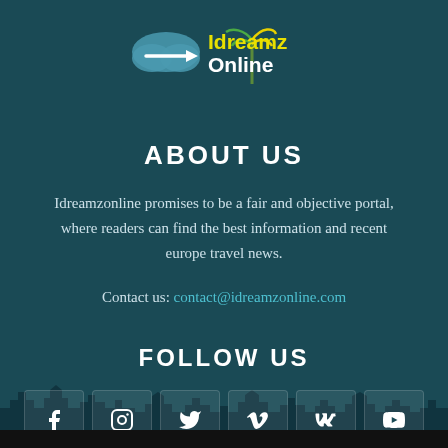[Figure (logo): Idreamz Online logo with cloud and arrow icon, palm tree, text 'Idreamz Online' in yellow and white]
ABOUT US
Idreamzonline promises to be a fair and objective portal, where readers can find the best information and recent europe travel news.
Contact us: contact@idreamzonline.com
FOLLOW US
[Figure (illustration): Row of 6 social media icons: Facebook, Instagram, Twitter, Vimeo, VK, YouTube]